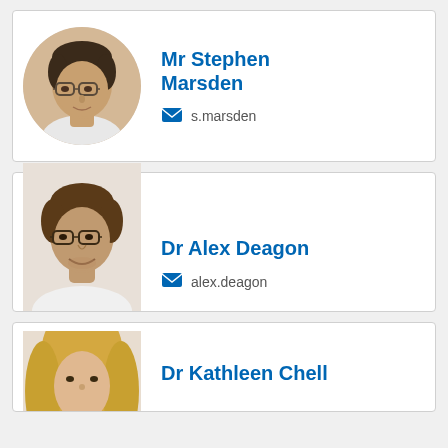[Figure (photo): Circular headshot of Mr Stephen Marsden, a man with glasses and dark hair]
Mr Stephen Marsden
✉ s.marsden
[Figure (photo): Photo of Dr Alex Deagon, a young man with glasses and brown hair, smiling]
Dr Alex Deagon
✉ alex.deagon
[Figure (photo): Partial photo of Dr Kathleen Chell, a woman with blonde hair]
Dr Kathleen Chell